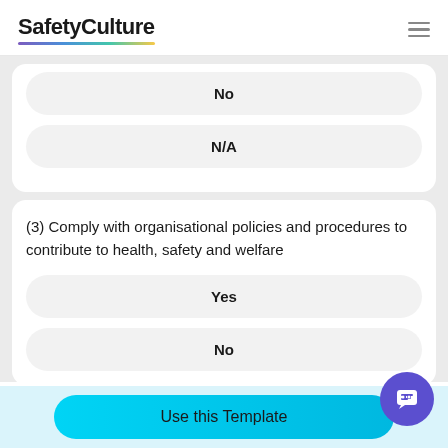SafetyCulture
No
N/A
(3) Comply with organisational policies and procedures to contribute to health, safety and welfare
Yes
No
Use this Template